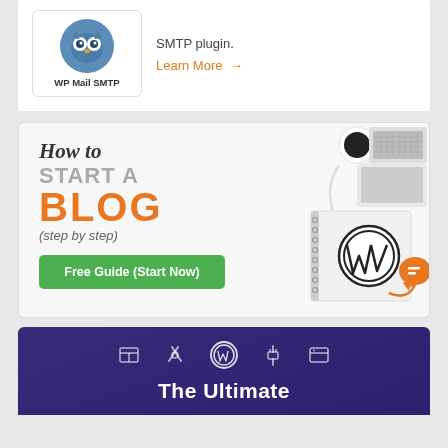[Figure (screenshot): WP Mail SMTP plugin logo with owl icon inside a bordered box, with text 'SMTP plugin.' and an orange 'Learn More →' link]
[Figure (infographic): How to Start a BLOG (step by step) Free Guide (Start Now) - a promotional banner with script text, gray uppercase text, large orange BLOG, italic subtitle, green CTA button, and a scene with laptop, coffee, notebook with WordPress logo on the right side]
[Figure (screenshot): Purple gradient section with five white icons (table, tools, WordPress circle logo, plug, browser window) and 'The Ultimate' white text beginning below]